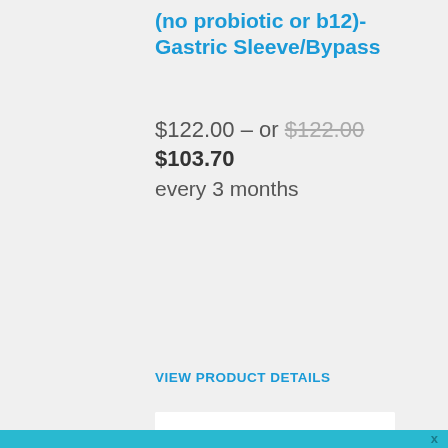(no probiotic or b12)- Gastric Sleeve/Bypass
$122.00 – or $122.00 $103.70 every 3 months
Select Options
VIEW PRODUCT DETAILS
[Figure (logo): AutoShip circular logo with teal arrows forming a circle and green 'Auto Ship' text in the center]
x